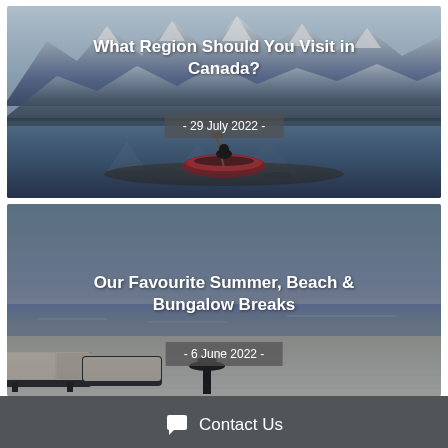[Figure (photo): Mountain lake landscape in Canada with snowy peaks, blue water reflection, and a red canoe in the foreground. Title overlay: 'What Region Should You Visit in Canada?' Date overlay: '- 29 July 2022 -']
[Figure (photo): Beach/bungalow resort scene with overwater deck, lounge chairs, small table, and ocean/lake view under a cloudy sky. Title overlay: 'Our Favourite Summer, Beach & Bungalow Breaks' Date overlay: '- 6 June 2022 -']
Contact Us